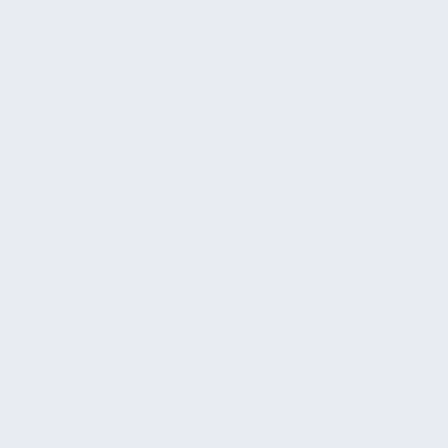the kitten wasn't going to make sure it gets de-w good enough shape to carrier in my car before just had a feeling I bett going on than I was lea
I heard the kitten before I saw h small dog crate that was placed they had bathed her a few times engine oil coming off her. Her fu down, terrified. That's when I l big truck, on the block heater one of the employees grabbe that the only source of warmt trucks since they were plugg fluids warm so they'd start ea
I asked her to take the kitten ou so big I could barely see her le pressed herself against some fi definitely feral and I said as mu